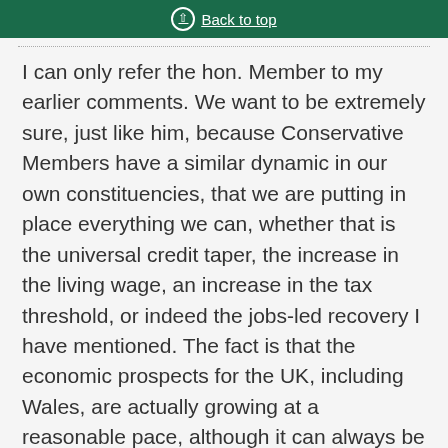Back to top
I can only refer the hon. Member to my earlier comments. We want to be extremely sure, just like him, because Conservative Members have a similar dynamic in our own constituencies, that we are putting in place everything we can, whether that is the universal credit taper, the increase in the living wage, an increase in the tax threshold, or indeed the jobs-led recovery I have mentioned. The fact is that the economic prospects for the UK, including Wales, are actually growing at a reasonable pace, although it can always be faster and greater. I am hoping I can reassure his constituents, just as I am attempting to reassure mine, that we have their best interests at heart when it comes to food poverty.